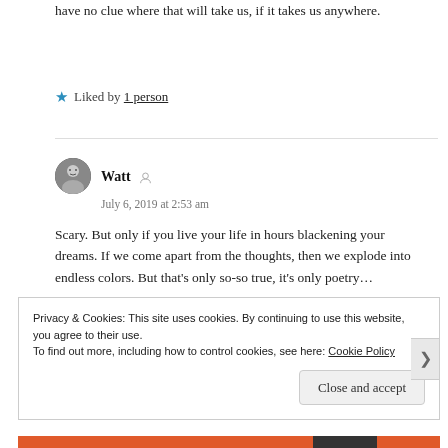have no clue where that will take us, if it takes us anywhere.
★ Liked by 1 person
Watt
July 6, 2019 at 2:53 am
Scary. But only if you live your life in hours blackening your dreams. If we come apart from the thoughts, then we explode into endless colors. But that's only so-so true, it's only poetry...
Privacy & Cookies: This site uses cookies. By continuing to use this website, you agree to their use.
To find out more, including how to control cookies, see here: Cookie Policy
Close and accept